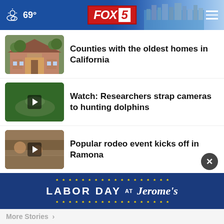FOX 5 | 69°
Counties with the oldest homes in California
Watch: Researchers strap cameras to hunting dolphins
Popular rodeo event kicks off in Ramona
Chula Vista plans to put fence around Harborside …
Adidas ends partnership with Tatis Jr.: report
[Figure (infographic): LABOR DAY AT Jerome's advertisement banner]
More Stories >